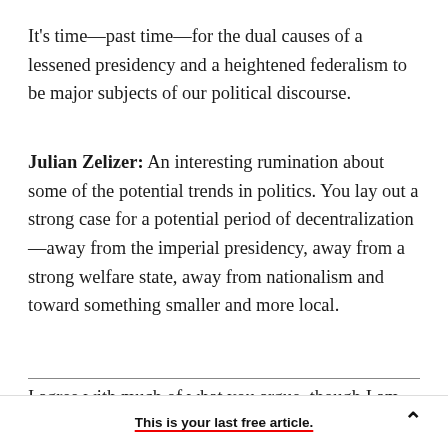It's time—past time—for the dual causes of a lessened presidency and a heightened federalism to be major subjects of our political discourse.
Julian Zelizer: An interesting rumination about some of the potential trends in politics. You lay out a strong case for a potential period of decentralization—away from the imperial presidency, away from a strong welfare state, away from nationalism and toward something smaller and more local.
I agree with much of what you argue, though I am
This is your last free article.